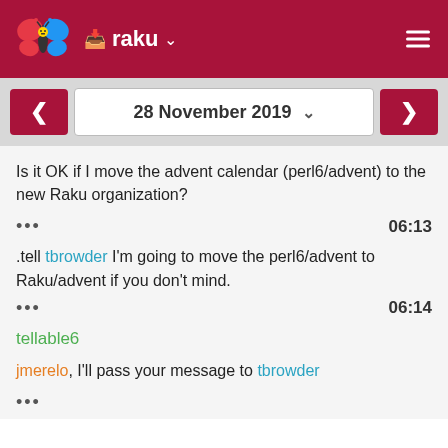raku
28 November 2019
Is it OK if I move the advent calendar (perl6/advent) to the new Raku organization?
••• 06:13
.tell tbrowder I'm going to move the perl6/advent to Raku/advent if you don't mind.
••• 06:14
tellable6
jmerelo, I'll pass your message to tbrowder
•••